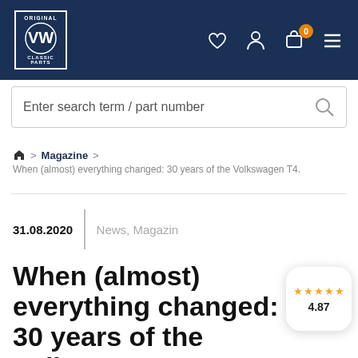[Figure (logo): VW Original Classic Parts logo in white on dark blue background navbar]
Enter search term / part number
🏠 > Magazine > When (almost) everything changed: 30 years of the Volkswagen T4.
31.08.2020   News, Magazin
When (almost) everything changed: 30 years of the Volkswagen T4.